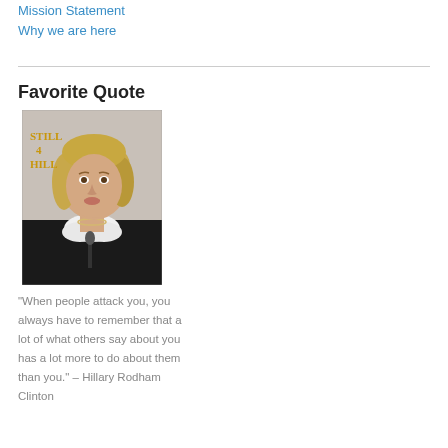Mission Statement
Why we are here
Favorite Quote
[Figure (photo): Photo of Hillary Rodham Clinton at a podium with microphone, wearing a black jacket with white ruffled blouse. Text overlay reads 'STILL 4 HILL' in gold/orange letters on the left side.]
“When people attack you, you always have to remember that a lot of what others say about you has a lot more to do about them than you.” – Hillary Rodham Clinton